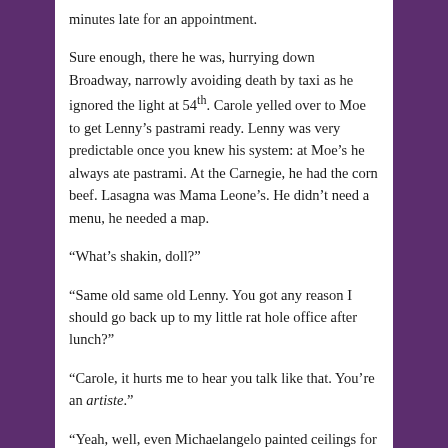minutes late for an appointment.
Sure enough, there he was, hurrying down Broadway, narrowly avoiding death by taxi as he ignored the light at 54th. Carole yelled over to Moe to get Lenny's pastrami ready. Lenny was very predictable once you knew his system: at Moe's he always ate pastrami. At the Carnegie, he had the corn beef. Lasagna was Mama Leone's. He didn't need a menu, he needed a map.
“What’s shakin, doll?”
“Same old same old Lenny. You got any reason I should go back up to my little rat hole office after lunch?”
“Carole, it hurts me to hear you talk like that. You’re an artiste.”
“Yeah, well, even Michaelangelo painted ceilings for a living. How many ways can I write ‘do wop?’”